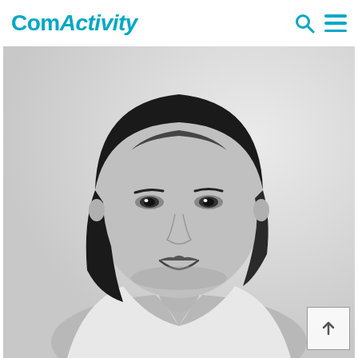ComActivity
[Figure (photo): Black and white portrait photo of a young Asian woman with shoulder-length dark hair, wearing a white button-up shirt, smiling gently against a light background.]